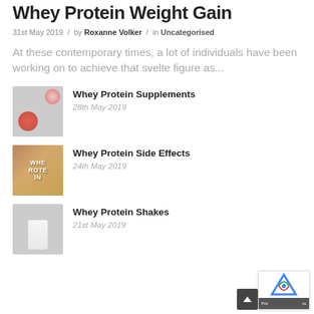Whey Protein Weight Gain
31st May 2019 / by Roxanne Volker / in Uncategorised
At these contemporary times, a lot of individuals have been working on to achieve that svelte figure as...
Whey Protein Supplements
28th May 2019
Whey Protein Side Effects
24th May 2019
Whey Protein Shakes
21st May 2019